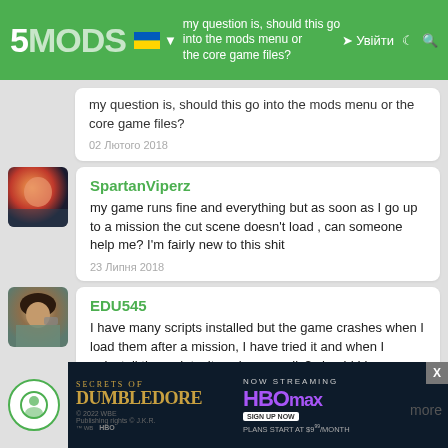5MODS — my question is, should this go into the mods menu or the core game files? — Увійти
my question is, should this go into the mods menu or the core game files?
02 Лютого 2018
SpartanViperz
my game runs fine and everything but as soon as I go up to a mission the cut scene doesn't load , can someone help me? I'm fairly new to this shit
23 Липня 2018
EDU545
I have many scripts installed but the game crashes when I load them after a mission, I have tried it and when I uninstall the scripts, it works normally? should I increase the limits of what line in my gameconfig?
18 Серпня 2018
[Figure (screenshot): Advertisement banner for Fantastic Beasts: The Secrets of Dumbledore, Now Streaming on HBO Max. Plans start at $9.99/month. Sign up now.]